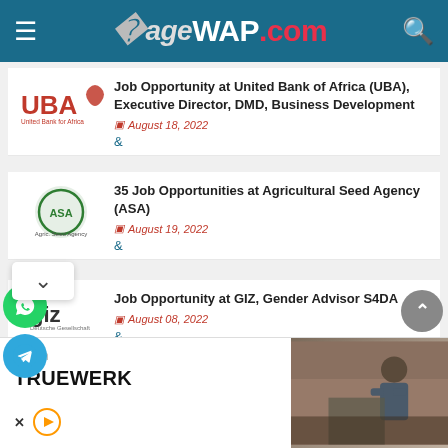SageWAP.com
Job Opportunity at United Bank of Africa (UBA), Executive Director, DMD, Business Development — August 18, 2022
35 Job Opportunities at Agricultural Seed Agency (ASA) — August 19, 2022
Job Opportunity at GIZ, Gender Advisor S4DA — August 08, 2022
Job Opportunity at Unicorn Insurance Brokers, Direct Sales Representative
[Figure (screenshot): TRUEWERK advertisement banner at bottom of page showing company name and a photo of a worker]
ystem